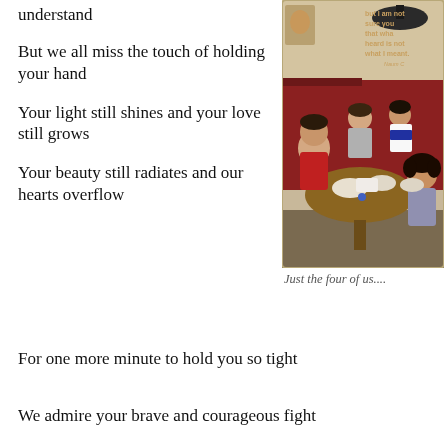understand
But we all miss the touch of holding your hand
Your light still shines and your love still grows
[Figure (photo): Vintage photo of four children sitting around a round wooden table in a kitchen or dining room, with a red bench seat behind them. A hanging lamp is visible above. The children appear to be eating or celebrating. A quote about communication is partially visible on the wall.]
Just the four of us....
Your beauty still radiates and our hearts overflow
For one more minute to hold you so tight
We admire your brave and courageous fight